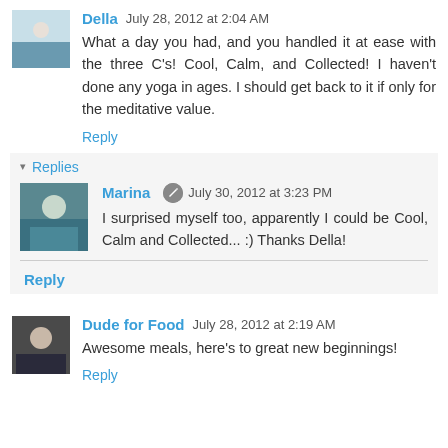Della  July 28, 2012 at 2:04 AM
What a day you had, and you handled it at ease with the three C's! Cool, Calm, and Collected! I haven't done any yoga in ages. I should get back to it if only for the meditative value.
Reply
▾ Replies
Marina  July 30, 2012 at 3:23 PM
I surprised myself too, apparently I could be Cool, Calm and Collected... :) Thanks Della!
Reply
Dude for Food  July 28, 2012 at 2:19 AM
Awesome meals, here's to great new beginnings!
Reply